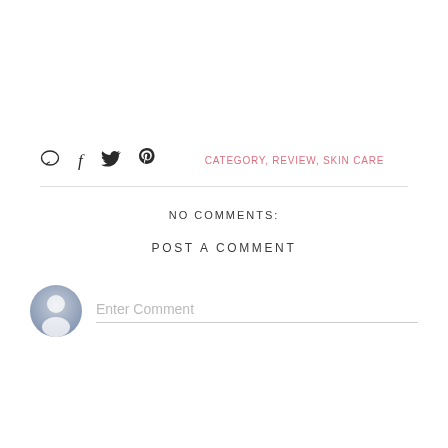[Figure (infographic): Social sharing toolbar with comment, Facebook, Twitter, and Pinterest icons, followed by category tags: CATEGORY, REVIEW, SKIN CARE in pink text]
NO COMMENTS:
POST A COMMENT
[Figure (other): User avatar circle icon (grey silhouette) with Enter Comment input field below]